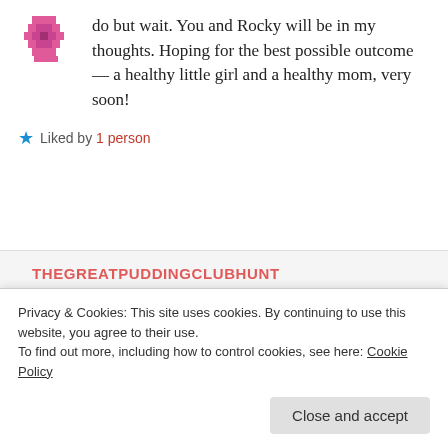do but wait. You and Rocky will be in my thoughts. Hoping for the best possible outcome — a healthy little girl and a healthy mom, very soon!
★ Liked by 1 person
THEGREATPUDDINGCLUBHUNT
December 9, 2016 at 2:57 pm
REPLY →
Thank you…we only have to wait til Monday now for the specialist scan. Fingers crossed 😊
Privacy & Cookies: This site uses cookies. By continuing to use this website, you agree to their use. To find out more, including how to control cookies, see here: Cookie Policy
Close and accept